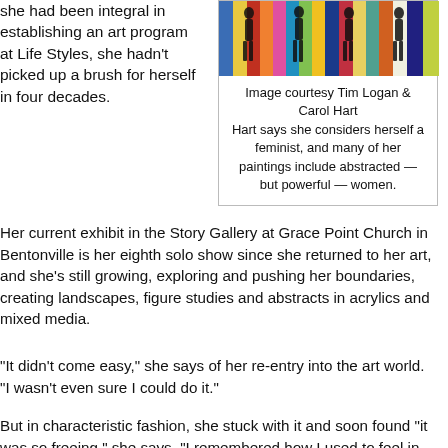she had been integral in establishing an art program at Life Styles, she hadn't picked up a brush for herself in four decades.
[Figure (photo): Colorful abstract painting with human silhouettes against a multi-colored striped background]
Image courtesy Tim Logan & Carol Hart
Hart says she considers herself a feminist, and many of her paintings include abstracted — but powerful — women.
Her current exhibit in the Story Gallery at Grace Point Church in Bentonville is her eighth solo show since she returned to her art, and she's still growing, exploring and pushing her boundaries, creating landscapes, figure studies and abstracts in acrylics and mixed media.
“It didn’t come easy,” she says of her re-entry into the art world. “I wasn’t even sure I could do it.”
But in characteristic fashion, she stuck with it and soon found “it was so freeing,” she says. “I remembered how I used to feel in college.”